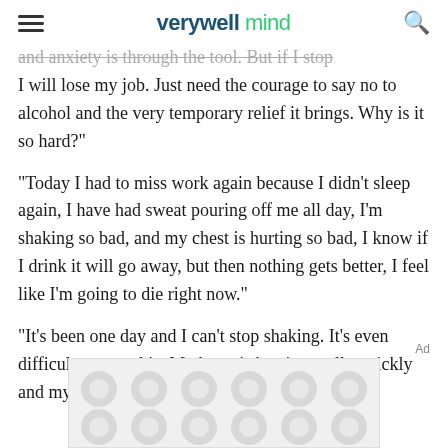verywell mind
and anxiety is through the tool. But if I stop I will lose my job. Just need the courage to say no to alcohol and the very temporary relief it brings. Why is it so hard?"
"Today I had to miss work again because I didn't sleep again, I have had sweat pouring off me all day, I'm shaking so bad, and my chest is hurting so bad, I know if I drink it will go away, but then nothing gets better, I feel like I'm going to die right now."
"It's been one day and I can't stop shaking. It's even difficult to type this. My heart is beating really quickly and my chest hurts. I've been
[Figure (other): Advertisement placeholder with grey circle pattern]